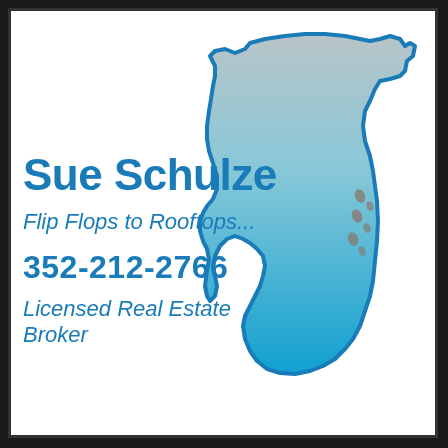[Figure (illustration): Outline map of the state of Florida with a gradient fill from gray/beige at the top (panhandle) to bright blue at the bottom (peninsula), with a blue border outline and decorative footprint marks along the east coast]
Sue Schulze
Flip Flops to Rooftops...
352-212-2766
Licensed Real Estate Broker